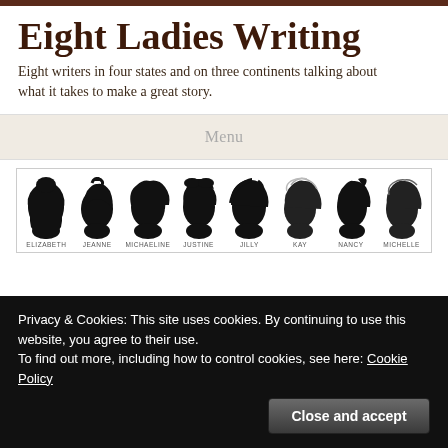Eight Ladies Writing
Eight writers in four states and on three continents talking about what it takes to make a great story.
Menu
[Figure (illustration): Eight female silhouette profile portraits in black, each labeled with a name below: Elizabeth, Jeanne, Michaeline, Justine, Jilly, Kay, Nancy, Michelle.]
Privacy & Cookies: This site uses cookies. By continuing to use this website, you agree to their use.
To find out more, including how to control cookies, see here: Cookie Policy
Close and accept